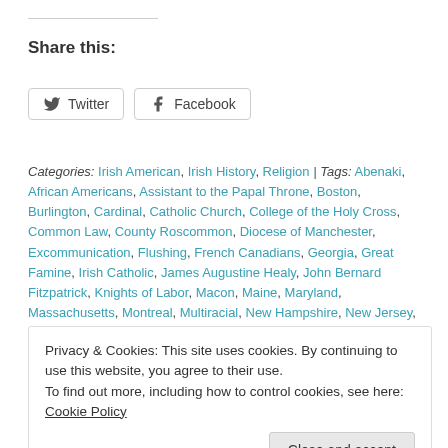Share this:
[Figure (other): Twitter and Facebook share buttons]
Categories: Irish American, Irish History, Religion | Tags: Abenaki, African Americans, Assistant to the Papal Throne, Boston, Burlington, Cardinal, Catholic Church, College of the Holy Cross, Common Law, County Roscommon, Diocese of Manchester, Excommunication, Flushing, French Canadians, Georgia, Great Famine, Irish Catholic, James Augustine Healy, John Bernard Fitzpatrick, Knights of Labor, Macon, Maine, Maryland, Massachusetts, Montreal, Multiracial, New Hampshire, New Jersey, New York City, Notre-Dame de Paris, Paris, Pastor, Pope Leo XIII, Pope Pius IX, Portland, Professor, Quakers, Saint-Sulpice, Seminary, Slave State, Society
Privacy & Cookies: This site uses cookies. By continuing to use this website, you agree to their use.
To find out more, including how to control cookies, see here: Cookie Policy
Roberts